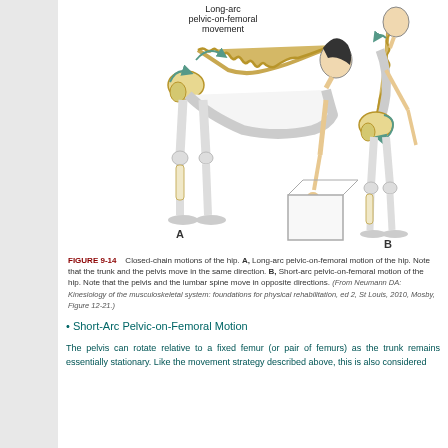[Figure (illustration): Medical illustration showing two figures demonstrating closed-chain motions of the hip. Figure A (left): person bending forward lifting a box, showing long-arc pelvic-on-femoral movement with spine and pelvis anatomy highlighted and arrows indicating motion direction. Label 'Long-arc pelvic-on-femoral movement' at top. Figure B (right): person in slight forward lean showing short-arc pelvic-on-femoral movement with pelvis anatomy highlighted. Both figures labeled A and B at bottom.]
FIGURE 9-14   Closed-chain motions of the hip. A, Long-arc pelvic-on-femoral motion of the hip. Note that the trunk and the pelvis move in the same direction. B, Short-arc pelvic-on-femoral motion of the hip. Note that the pelvis and the lumbar spine move in opposite directions. (From Neumann DA: Kinesiology of the musculoskeletal system: foundations for physical rehabilitation, ed 2, St Louis, 2010, Mosby, Figure 12-21.)
• Short-Arc Pelvic-on-Femoral Motion
The pelvis can rotate relative to a fixed femur (or pair of femurs) as the trunk remains essentially stationary. Like the movement strategy described above, this is also considered